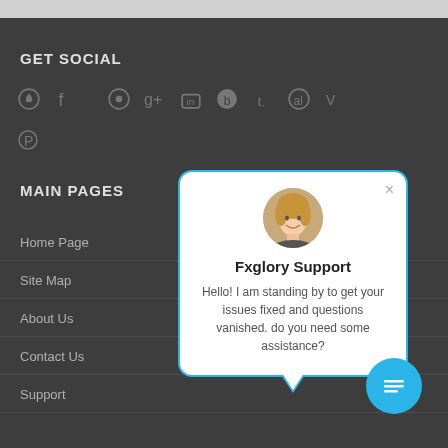GET SOCIAL
[Figure (screenshot): Social media icons row: RSS, Facebook, a globe icon, Google+, LinkedIn, Blogger, Tumblr, Reddit, Vimeo; and Pinterest below]
MAIN PAGES
Home Page
Site Map
About Us
Contact Us
Support
[Figure (screenshot): Live chat support popup with avatar of a blonde woman, title 'Fxglory Support', message: 'Hello! I am standing by to get your issues fixed and questions vanished. do you need some assistance?' with close X button and a blue chat button with list icon below]